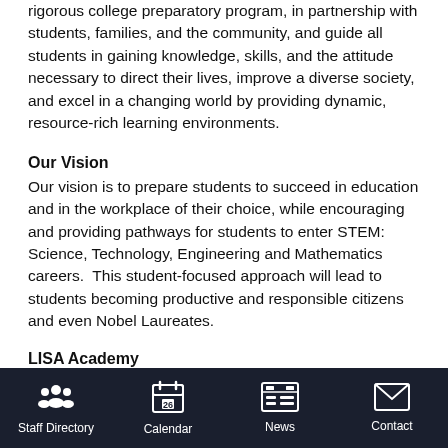rigorous college preparatory program, in partnership with students, families, and the community, and guide all students in gaining knowledge, skills, and the attitude necessary to direct their lives, improve a diverse society, and excel in a changing world by providing dynamic, resource-rich learning environments.
Our Vision
Our vision is to prepare students to succeed in education and in the workplace of their choice, while encouraging and providing pathways for students to enter STEM: Science, Technology, Engineering and Mathematics careers.  This student-focused approach will lead to students becoming productive and responsible citizens and even Nobel Laureates.
LISA Academy
The Arkansas-based non-profit organization was established by a group of dedicated educators and university academicians who were passionate about the way children approached math and science.
Staff Directory | Calendar | News | Contact